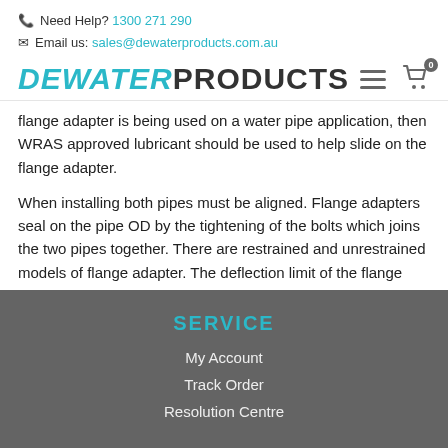Need Help? 1300 271 290 | Email us: sales@dewaterproducts.com.au
[Figure (logo): Dewater Products logo with teal italic 'DEWATER' and bold dark 'PRODUCTS' text, with hamburger menu and cart icon (0) on the right]
flange adapter is being used on a water pipe application, then WRAS approved lubricant should be used to help slide on the flange adapter.
When installing both pipes must be aligned. Flange adapters seal on the pipe OD by the tightening of the bolts which joins the two pipes together. There are restrained and unrestrained models of flange adapter. The deflection limit of the flange adaptor must not be exceeded. Tighten with a torque wrench to the recommended torque.
SERVICE
My Account
Track Order
Resolution Centre